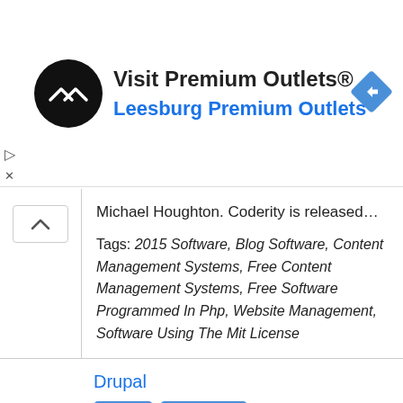[Figure (logo): Premium Outlets logo: black circle with white overlapping arrows/chevrons icon]
Visit Premium Outlets®
Leesburg Premium Outlets
[Figure (illustration): Blue diamond-shaped navigation/direction icon with white right-turn arrow]
Michael Houghton. Coderity is released…
Tags: 2015 Software, Blog Software, Content Management Systems, Free Content Management Systems, Free Software Programmed In Php, Website Management, Software Using The Mit License
Drupal
Unix
Windows
Drupal , a free and open source content-management framework written in PHP and distributed under the GNU General Public License. Drupal provides a back-end framework for at least 2.3% of all web…